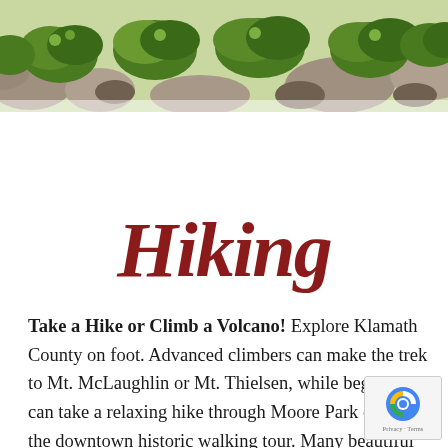[Figure (photo): Overhead photo of rocks and green leafy shrubs/bushes, typical of mountain or volcanic terrain]
Hiking
Take a Hike or Climb a Volcano! Explore Klamath County on foot. Advanced climbers can make the trek to Mt. McLaughlin or Mt. Thielsen, while beginners can take a relaxing hike through Moore Park or along the downtown historic walking tour. Many beautiful places can only be reached by hiking, and enthusiasts regard hiking as the best way to see nature. Hike through lush